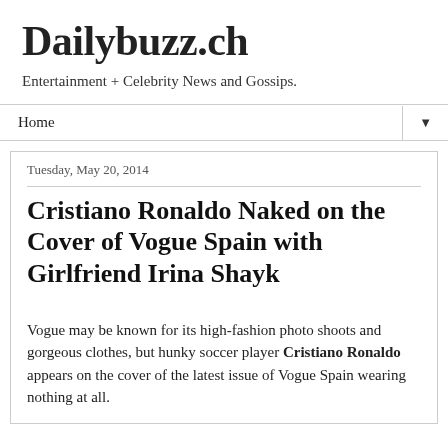Dailybuzz.ch
Entertainment + Celebrity News and Gossips.
Home ▼
Tuesday, May 20, 2014
Cristiano Ronaldo Naked on the Cover of Vogue Spain with Girlfriend Irina Shayk
Vogue may be known for its high-fashion photo shoots and gorgeous clothes, but hunky soccer player Cristiano Ronaldo appears on the cover of the latest issue of Vogue Spain wearing nothing at all.